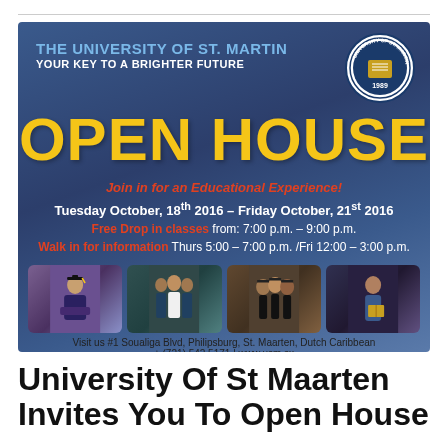[Figure (infographic): University of St. Martin Open House promotional flyer with blue gradient background, university seal, OPEN HOUSE in large yellow text, event dates, class times, four event photos, and address information.]
University Of St Maarten Invites You To Open House